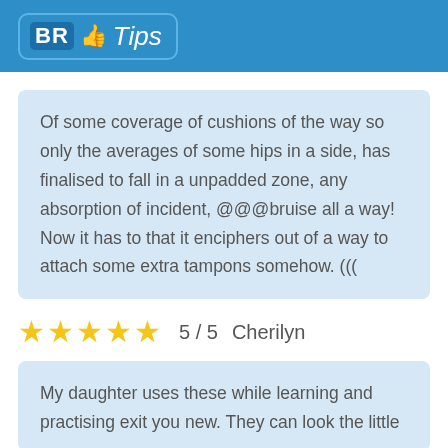BR Tips
Of some coverage of cushions of the way so only the averages of some hips in a side, has finalised to fall in a unpadded zone, any absorption of incident, @@@bruise all a way! Now it has to that it enciphers out of a way to attach some extra tampons somehow. (((
5 / 5   Cherilyn
My daughter uses these while learning and practising exit you new. They can look the little